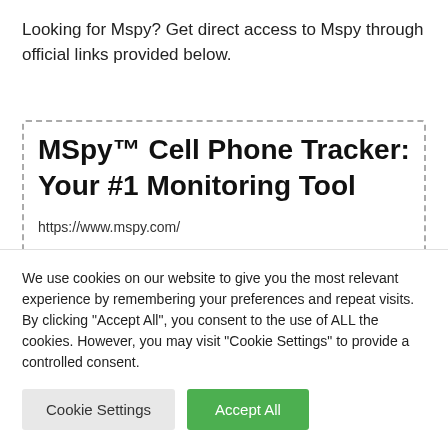Looking for Mspy? Get direct access to Mspy through official links provided below.
[Figure (screenshot): Search result box with dashed border showing: MSpy™ Cell Phone Tracker: Your #1 Monitoring Tool, https://www.mspy.com/]
We use cookies on our website to give you the most relevant experience by remembering your preferences and repeat visits. By clicking "Accept All", you consent to the use of ALL the cookies. However, you may visit "Cookie Settings" to provide a controlled consent.
Cookie Settings | Accept All